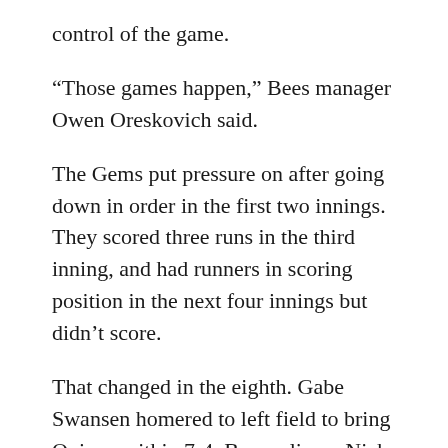control of the game.
“Those games happen,” Bees manager Owen Oreskovich said.
The Gems put pressure on after going down in order in the first two innings. They scored three runs in the third inning, and had runners in scoring position in the next four innings but didn’t score.
That changed in the eighth. Gabe Swansen homered to left field to bring Quincy within 7-4. Bees reliever Nick Tampa gave up a double and two walks to load the bases, and Oreskovich replaced him with Jaxon Ingram (0-1). Ingram gave up a broken-bat grounder to Lucas Loos for the first out, with Logan Voth scoring. Then